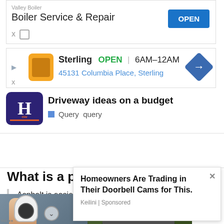[Figure (screenshot): Ad for Valley Boiler — Boiler Service & Repair with OPEN button]
[Figure (screenshot): Ad for Sterling showing logo, OPEN 6AM-12AM, 45131 Columbia Place Sterling, direction arrow]
[Figure (logo): How.com logo — dark blue rounded rectangle with white H and orange underline]
Driveway ideas on a budget
Query   query
What is a paved driveway vs
Asphalt is easier to repair than concrete, but it is needed more often. While asphalt and concrete crack, asphalt tends
[Figure (screenshot): Overlay ad: Homeowners Are Trading in Their Doorbell Cams for This. Keilini | Sponsored]
[Figure (photo): Photo of hand holding a light bulb camera device]
[Figure (photo): Photo of road with Hold and Move text overlay and people icon, trees in background]